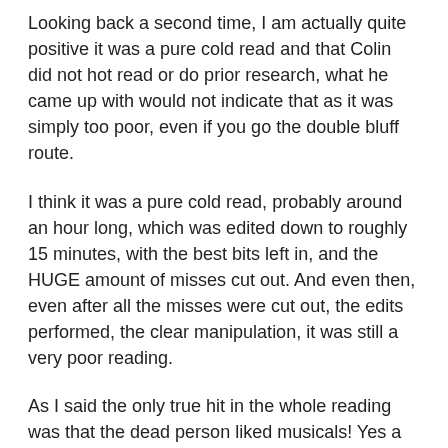Looking back a second time, I am actually quite positive it was a pure cold read and that Colin did not hot read or do prior research, what he came up with would not indicate that as it was simply too poor, even if you go the double bluff route.
I think it was a pure cold read, probably around an hour long, which was edited down to roughly 15 minutes, with the best bits left in, and the HUGE amount of misses cut out. And even then, even after all the misses were cut out, the edits performed, the clear manipulation, it was still a very poor reading.
As I said the only true hit in the whole reading was that the dead person liked musicals! Yes a dead friend of an openly gay man, who was also likely gay as well, liked musicals.
So now you have read my analysis, have heard my final opinion, do you still see this as a piece of genuine mediumship? Or are you prepared to admit that you got taken in my television magic, cleverly edited footage, and the manipulation of Derren'sontinuous…